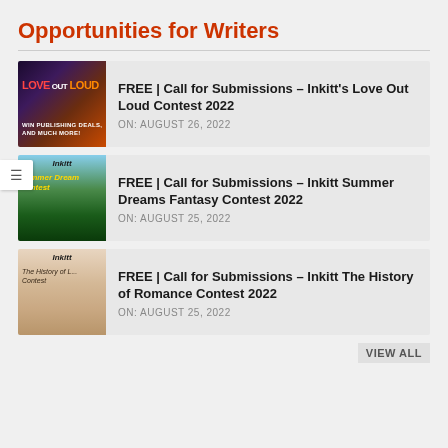Opportunities for Writers
FREE | Call for Submissions – Inkitt's Love Out Loud Contest 2022 | ON: AUGUST 26, 2022
FREE | Call for Submissions – Inkitt Summer Dreams Fantasy Contest 2022 | ON: AUGUST 25, 2022
FREE | Call for Submissions – Inkitt The History of Romance Contest 2022 | ON: AUGUST 25, 2022
VIEW ALL